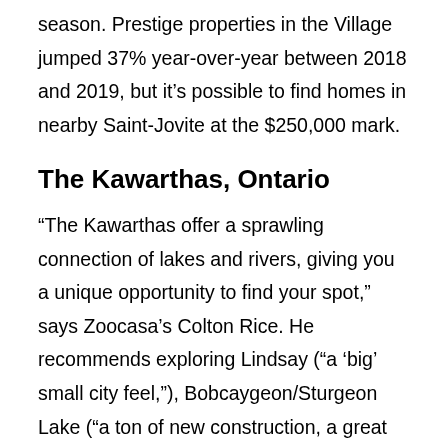season. Prestige properties in the Village jumped 37% year-over-year between 2018 and 2019, but it's possible to find homes in nearby Saint-Jovite at the $250,000 mark.
The Kawarthas, Ontario
“The Kawarthas offer a sprawling connection of lakes and rivers, giving you a unique opportunity to find your spot,” says Zoocasa’s Colton Rice. He recommends exploring Lindsay (“a ‘big’ small city feel,”), Bobcaygeon/Sturgeon Lake (“a ton of new construction, a great retirement community,”) and Fenelon Falls/Cameron Lake (“growing with new businesses coming to the main strip,”). Single-family detached homes range from about $250,000 to $550,000.